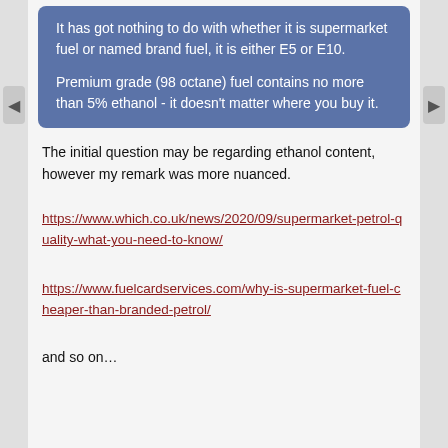It has got nothing to do with whether it is supermarket fuel or named brand fuel, it is either E5 or E10.

Premium grade (98 octane) fuel contains no more than 5% ethanol - it doesn't matter where you buy it.
The initial question may be regarding ethanol content, however my remark was more nuanced.
https://www.which.co.uk/news/2020/09/supermarket-petrol-quality-what-you-need-to-know/
https://www.fuelcardservices.com/why-is-supermarket-fuel-cheaper-than-branded-petrol/
and so on…